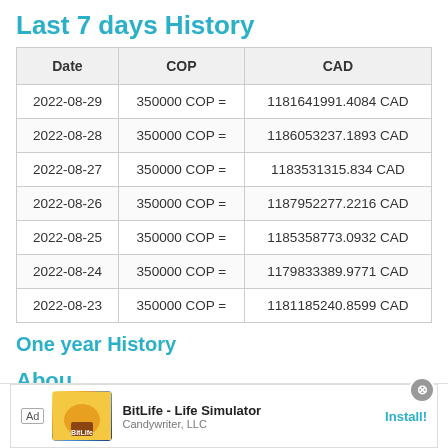Last 7 days History
| Date | COP | CAD |
| --- | --- | --- |
| 2022-08-29 | 350000 COP = | 1181641991.4084 CAD |
| 2022-08-28 | 350000 COP = | 1186053237.1893 CAD |
| 2022-08-27 | 350000 COP = | 1183531315.834 CAD |
| 2022-08-26 | 350000 COP = | 1187952277.2216 CAD |
| 2022-08-25 | 350000 COP = | 1185358773.0932 CAD |
| 2022-08-24 | 350000 COP = | 1179833389.9771 CAD |
| 2022-08-23 | 350000 COP = | 1181185240.8599 CAD |
One year History
Abou…